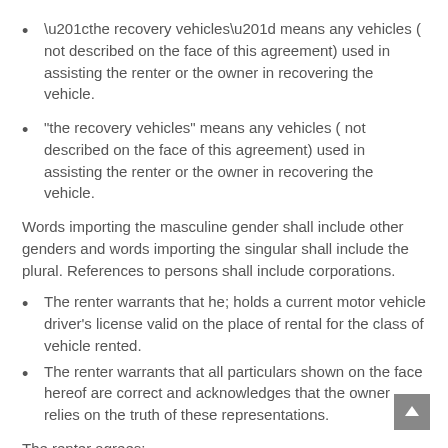“the recovery vehicles” means any vehicles ( not described on the face of this agreement) used in assisting the renter or the owner in recovering the vehicle.
Words importing the masculine gender shall include other genders and words importing the singular shall include the plural. References to persons shall include corporations.
The renter warrants that he; holds a current motor vehicle driver’s license valid on the place of rental for the class of vehicle rented.
The renter warrants that all particulars shown on the face hereof are correct and acknowledges that the owner relies on the truth of these representations.
The renter agrees:
(i) To return the vehicle as specified on the face